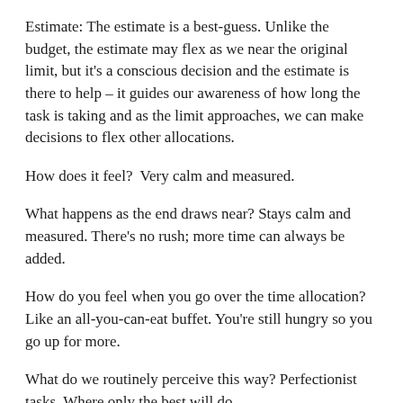Estimate: The estimate is a best-guess. Unlike the budget, the estimate may flex as we near the original limit, but it's a conscious decision and the estimate is there to help – it guides our awareness of how long the task is taking and as the limit approaches, we can make decisions to flex other allocations.
How does it feel?  Very calm and measured.
What happens as the end draws near? Stays calm and measured. There's no rush; more time can always be added.
How do you feel when you go over the time allocation? Like an all-you-can-eat buffet. You're still hungry so you go up for more.
What do we routinely perceive this way? Perfectionist tasks. Where only the best will do.